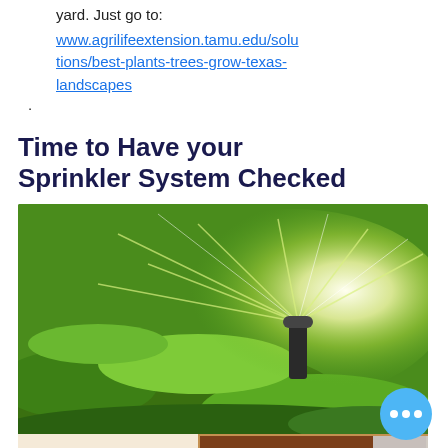yard. Just go to:
www.agrilifeextension.tamu.edu/solutions/best-plants-trees-grow-texas-landscapes.
Time to Have your Sprinkler System Checked
[Figure (photo): Photo of a lawn sprinkler head spraying water over green grass, with a coupon bar at the bottom showing '$50 COUPON' on the left and 'THANK YOU... ...for having an irrigation consult!' with 'www.TrinityGlenRose.com' on the right]
July through September is typically the hottest and driest stretch of weather we see in South Texas each year. Any by now...